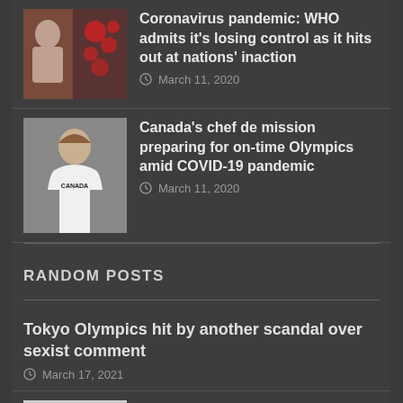[Figure (photo): Thumbnail image of WHO official and coronavirus graphic]
Coronavirus pandemic: WHO admits it's losing control as it hits out at nations' inaction
March 11, 2020
[Figure (photo): Thumbnail image of Canada's chef de mission in white Canada t-shirt]
Canada's chef de mission preparing for on-time Olympics amid COVID-19 pandemic
March 11, 2020
RANDOM POSTS
Tokyo Olympics hit by another scandal over sexist comment
March 17, 2021
[Figure (photo): Thumbnail image of Xbox Series X console and controller]
Xbox Series X stock becomes available to buy today on Asda website
October 12, 2021
[Figure (photo): Thumbnail image for Sky Q, Sky Glass and NOW article]
Sky Q, Sky Glass and NOW users will get thousands of new shows and films tomorrow